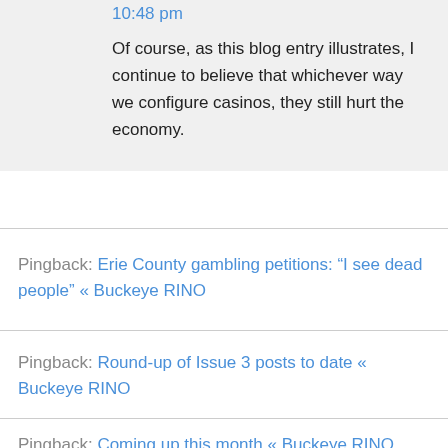10:48 pm
Of course, as this blog entry illustrates, I continue to believe that whichever way we configure casinos, they still hurt the economy.
Pingback: Erie County gambling petitions: “I see dead people” « Buckeye RINO
Pingback: Round-up of Issue 3 posts to date « Buckeye RINO
Pingback: Coming up this month « Buckeye RINO